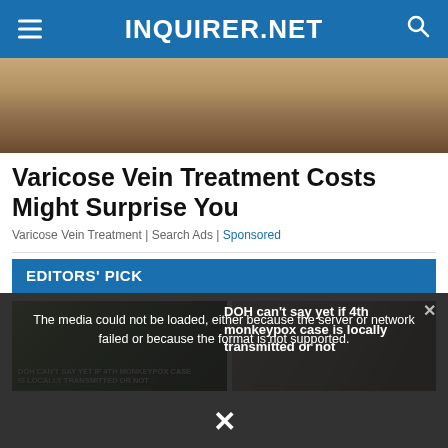INQUIRER.NET
[Figure (photo): Close-up photo of skin, appears to be a leg or arm, with beige/brown tones]
Varicose Vein Treatment Costs Might Surprise You
Varicose Vein Treatment | Search Ads | Sponsored
EDITORS' PICK
[Figure (photo): Left photo: young man outdoors, right photo: person with long dark hair in a suit]
[Figure (screenshot): Video player overlay showing error message: The media could not be loaded, either because the server or network failed or because the format is not supported. Caption text: DOH can't say yet if 4th monkeypox case is locally transmitted or not. Close button X at bottom.]